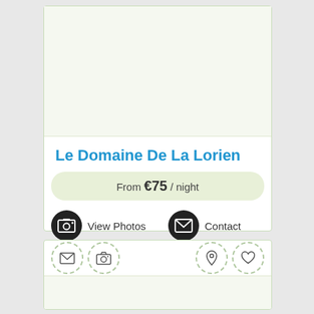[Figure (photo): White card area with image placeholder at top (property photo area)]
Le Domaine De La Lorien
From €75 / night
View Photos
Contact
[Figure (infographic): Bottom card showing icon strip with dashed-circle icons: envelope, camera on left; location pin, heart on right; and a photo area below]